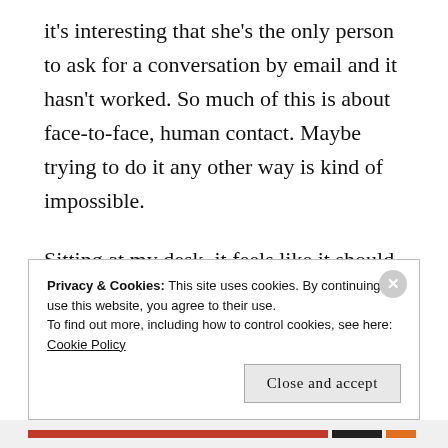it's interesting that she's the only person to ask for a conversation by email and it hasn't worked. So much of this is about face-to-face, human contact. Maybe trying to do it any other way is kind of impossible.
Sitting at my desk, it feels like it should all finish on less of an anticlimax. Why did this have to happen now? Surely this can't be it, can it? After all the highs and lows, this can't be how the past
Privacy & Cookies: This site uses cookies. By continuing to use this website, you agree to their use.
To find out more, including how to control cookies, see here: Cookie Policy